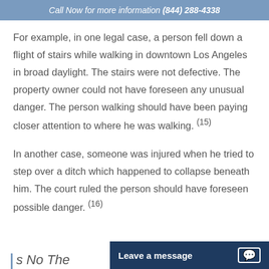Call Now for more information (844) 288-4338
For example, in one legal case, a person fell down a flight of stairs while walking in downtown Los Angeles in broad daylight. The stairs were not defective. The property owner could not have foreseen any unusual danger. The person walking should have been paying closer attention to where he was walking. (15)
In another case, someone was injured when he tried to step over a ditch which happened to collapse beneath him. The court ruled the person should have foreseen possible danger. (16)
Leave a message